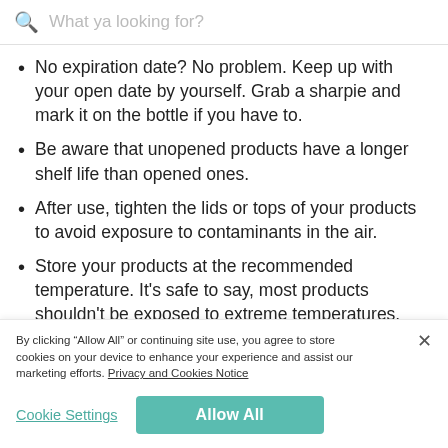What ya looking for?
No expiration date? No problem. Keep up with your open date by yourself. Grab a sharpie and mark it on the bottle if you have to.
Be aware that unopened products have a longer shelf life than opened ones.
After use, tighten the lids or tops of your products to avoid exposure to contaminants in the air.
Store your products at the recommended temperature. It’s safe to say, most products shouldn’t be exposed to extreme temperatures.
By clicking “Allow All” or continuing site use, you agree to store cookies on your device to enhance your experience and assist our marketing efforts. Privacy and Cookies Notice
Cookie Settings
Allow All